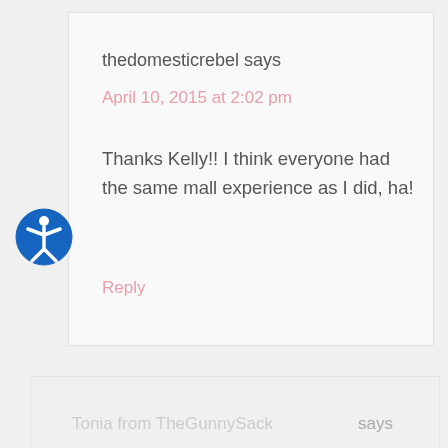thedomesticrebel says
April 10, 2015 at 2:02 pm
Thanks Kelly!! I think everyone had the same mall experience as I did, ha!
Reply
Tonia from TheGunnySack says